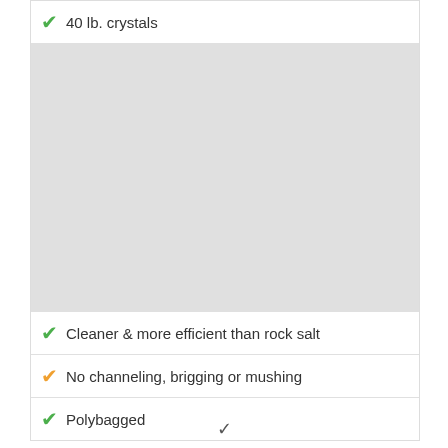40 lb. crystals
[Figure (photo): Product image placeholder - gray rectangle]
Cleaner & more efficient than rock salt
No channeling, brigging or mushing
Polybagged